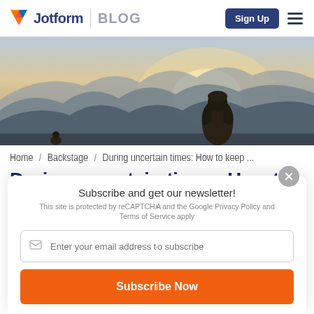Jotform BLOG
[Figure (photo): Silhouette of a person with long hair sitting on a mountaintop looking at distant mountain ridges in warm sunset light]
Home / Backstage / During uncertain times: How to keep ...
During uncertain times: How to keep your emotions in check
Subscribe and get our newsletter!
This site is protected by reCAPTCHA and the Google Privacy Policy and Terms of Service apply
Enter your email address to subscribe
Subscribe Now